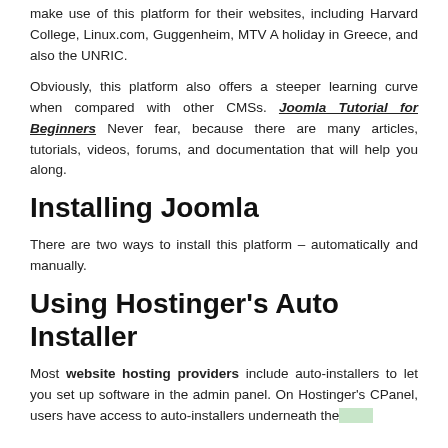make use of this platform for their websites, including Harvard College, Linux.com, Guggenheim, MTV A holiday in Greece, and also the UNRIC.
Obviously, this platform also offers a steeper learning curve when compared with other CMSs. Joomla Tutorial for Beginners Never fear, because there are many articles, tutorials, videos, forums, and documentation that will help you along.
Installing Joomla
There are two ways to install this platform – automatically and manually.
Using Hostinger's Auto Installer
Most website hosting providers include auto-installers to let you set up software in the admin panel. On Hostinger's CPanel, users have access to auto-installers underneath the